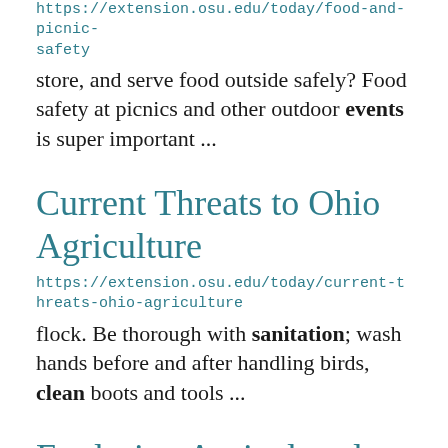https://extension.osu.edu/today/food-and-picnic-safety
store, and serve food outside safely? Food safety at picnics and other outdoor events is super important ...
Current Threats to Ohio Agriculture
https://extension.osu.edu/today/current-threats-ohio-agriculture
flock. Be thorough with sanitation; wash hands before and after handling birds, clean boots and tools ...
Exploring Agricultural Communication, Education, and